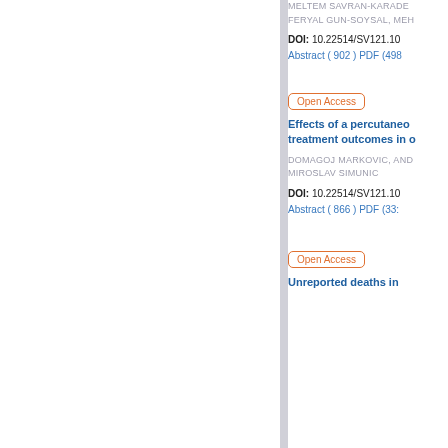MELTEM SAVRAN-KARADE...
FERYAL GUN-SOYSAL, MEH...
DOI: 10.22514/SV121.10...
Abstract ( 902 ) PDF (498...
Open Access
Effects of a percutaneo... treatment outcomes in o...
DOMAGOJ MARKOVIC, AND...
MIROSLAV SIMUNIC
DOI: 10.22514/SV121.10...
Abstract ( 866 ) PDF (33...
Open Access
Unreported deaths in...